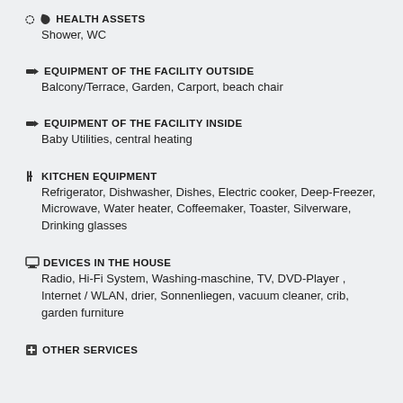HEALTH ASSETS
Shower, WC
EQUIPMENT OF THE FACILITY OUTSIDE
Balcony/Terrace, Garden, Carport, beach chair
EQUIPMENT OF THE FACILITY INSIDE
Baby Utilities, central heating
KITCHEN EQUIPMENT
Refrigerator, Dishwasher, Dishes, Electric cooker, Deep-Freezer, Microwave, Water heater, Coffeemaker, Toaster, Silverware, Drinking glasses
DEVICES IN THE HOUSE
Radio, Hi-Fi System, Washing-maschine, TV, DVD-Player , Internet / WLAN, drier, Sonnenliegen, vacuum cleaner, crib, garden furniture
OTHER SERVICES